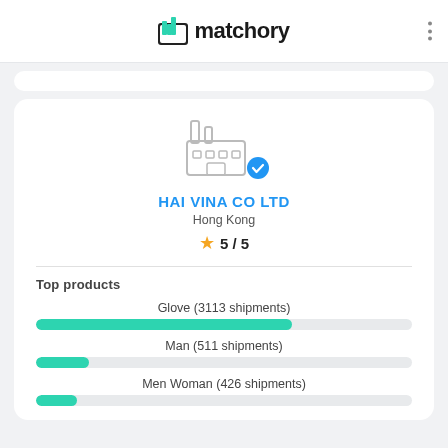matchory
[Figure (logo): Matchory company logo with factory/building icon in teal and black text reading 'matchory']
[Figure (illustration): Gray factory/industrial building icon with a teal blue checkmark badge overlay indicating verified status]
HAI VINA CO LTD
Hong Kong
5 / 5
Top products
Glove (3113 shipments)
Man (511 shipments)
Men Woman (426 shipments)